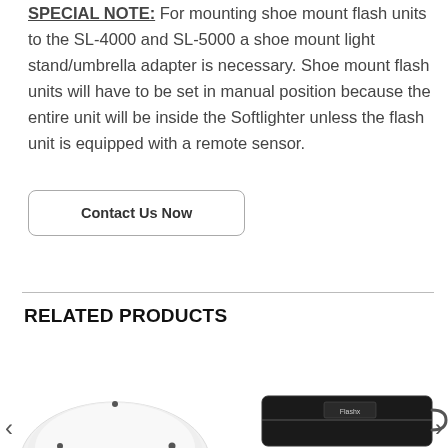SPECIAL NOTE: For mounting shoe mount flash units to the SL-4000 and SL-5000 a shoe mount light stand/umbrella adapter is necessary. Shoe mount flash units will have to be set in manual position because the entire unit will be inside the Softlighter unless the flash unit is equipped with a remote sensor.
Contact Us Now
RELATED PRODUCTS
[Figure (photo): White circular reflector/softbox product photo, partially visible, cropped at bottom of page]
[Figure (photo): Black carrying/storage bag product photo with logo label and handle loop, partially visible]